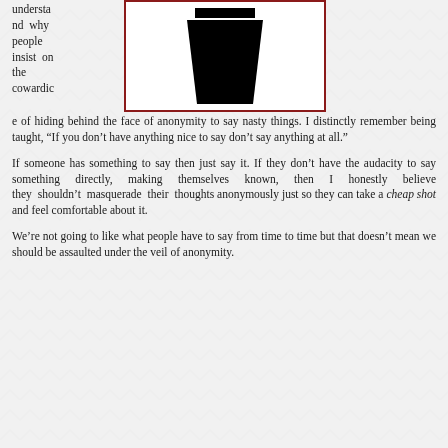understand why people insist on the cowardice of hiding behind the face of anonymity to say nasty things. I distinctly remember being taught, “If you don’t have anything nice to say don’t say anything at all.”
[Figure (illustration): Black silhouette of a coffee cup or trash can shape on a white background, framed with a dark red border]
If someone has something to say then just say it. If they don’t have the audacity to say something directly, making themselves known, then I honestly believe they shouldn’t masquerade their thoughts anonymously just so they can take a cheap shot and feel comfortable about it.
We’re not going to like what people have to say from time to time but that doesn’t mean we should be assaulted under the veil of anonymity.